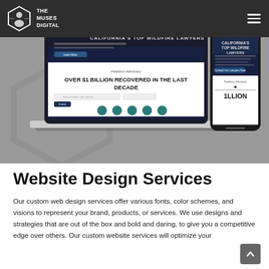[Figure (screenshot): Navigation bar with The Muses Digital logo on dark background with hamburger menu icon]
[Figure (screenshot): Hero section showing a laptop and mobile phone mockup displaying a law firm website 'California's Top Wildfire Lawyers' with text 'Over $1 Billion Recovered in the Last Decade', on a grey background with hexagon watermark]
Website Design Services
Our custom web design services offer various fonts, color schemes, and visions to represent your brand, products, or services. We use designs and strategies that are out of the box and bold and daring, to give you a competitive edge over others. Our custom website services will optimize your